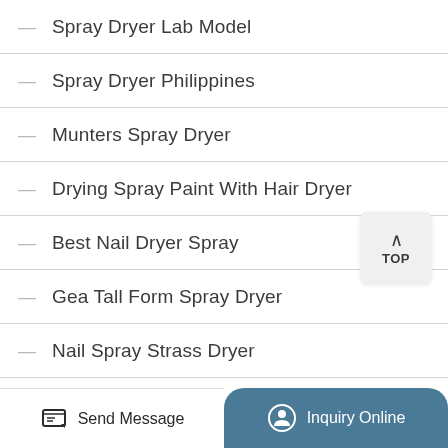Spray Dryer Lab Model
Spray Dryer Philippines
Munters Spray Dryer
Drying Spray Paint With Hair Dryer
Best Nail Dryer Spray
Gea Tall Form Spray Dryer
Nail Spray Strass Dryer
Spray Freeze Drying
Spray Drying Equipment